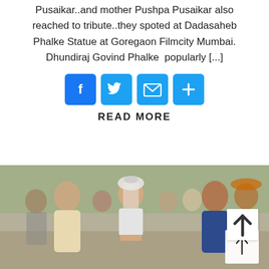Pusaikar..and mother Pushpa Pusaikar also reached to tribute..they spoted at Dadasaheb Phalke Statue at Goregaon Filmcity Mumbai. Dhundiraj Govind Phalke  popularly [...]
[Figure (infographic): Four social sharing icon buttons: Facebook (blue), Twitter (light blue), Mail (light blue), Plus/More (light blue)]
READ MORE
[Figure (photo): Outdoor group photo: a woman in bridal white outfit with veil and crown stands centrally, surrounded by several people including a man in a blue suit on the right and a woman in a white/gold outfit on the left. A scroll-up arrow button is overlaid at the bottom right.]